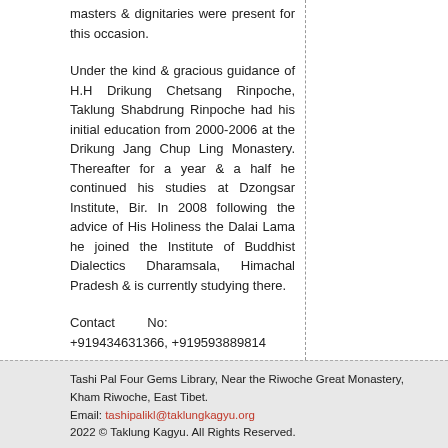masters & dignitaries were present for this occasion.
Under the kind & gracious guidance of H.H Drikung Chetsang Rinpoche, Taklung Shabdrung Rinpoche had his initial education from 2000-2006 at the Drikung Jang Chup Ling Monastery. Thereafter for a year & a half he continued his studies at Dzongsar Institute, Bir. In 2008 following the advice of His Holiness the Dalai Lama he joined the Institute of Buddhist Dialectics Dharamsala, Himachal Pradesh & is currently studying there.
Contact No: +919434631366, +919593889814
Tashi Pal Four Gems Library, Near the Riwoche Great Monastery, Kham Riwoche, East Tibet.
Email: tashipalikl@taklungkagyu.org
2022 © Taklung Kagyu. All Rights Reserved.